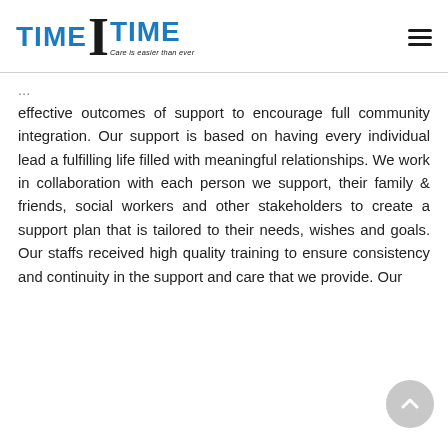[Figure (logo): TimeITime logo with blue 'TIME' text on both sides of a large black serif 'I', with tagline 'Care is easier than ever']
effective outcomes of support to encourage full community integration. Our support is based on having every individual lead a fulfilling life filled with meaningful relationships. We work in collaboration with each person we support, their family & friends, social workers and other stakeholders to create a support plan that is tailored to their needs, wishes and goals. Our staffs received high quality training to ensure consistency and continuity in the support and care that we provide. Our